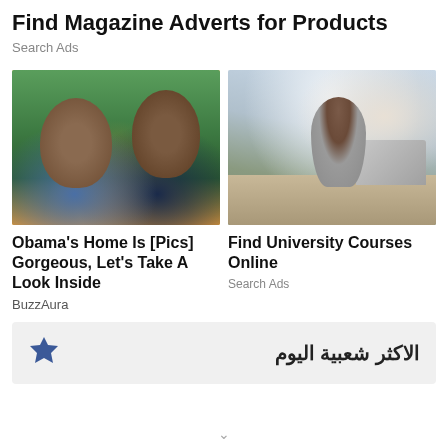Find Magazine Adverts for Products
Search Ads
[Figure (photo): Couple wearing sunglasses outdoors with green foliage background]
[Figure (photo): Woman working on laptop at a desk in a bright office]
Obama's Home Is [Pics] Gorgeous, Let's Take A Look Inside
Find University Courses Online
Search Ads
BuzzAura
الاكثر شعبية اليوم